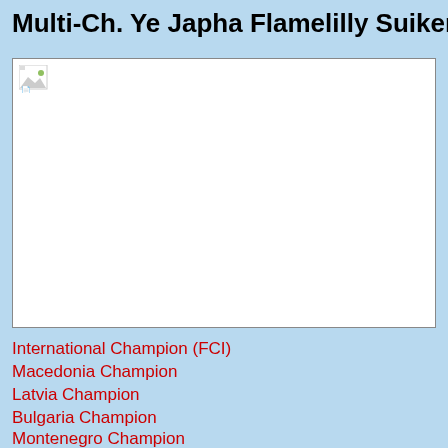Multi-Ch. Ye Japha Flamelilly Suikerb
[Figure (photo): A placeholder/broken image icon in the top-left corner of a large white-bordered rectangle on a light blue background]
International Champion (FCI)
Macedonia Champion
Latvia Champion
Bulgaria Champion
Montenegro Champion
Azerbaidjan Champion
Cyprus Champion